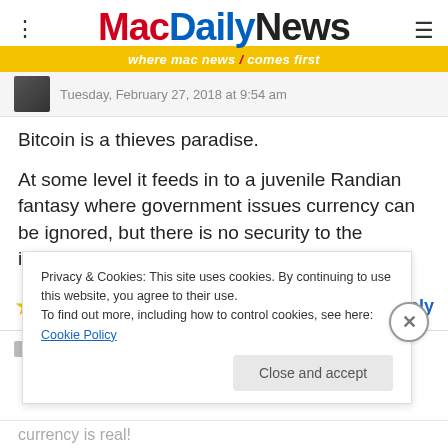MacDailyNews — where mac news comes first
Tuesday, February 27, 2018 at 9:54 am
Bitcoin is a thieves paradise.
At some level it feeds in to a juvenile Randian fantasy where government issues currency can be ignored, but there is no security to the imaginary currency.
10 Votes
Reply
Privacy & Cookies: This site uses cookies. By continuing to use this website, you agree to their use.
To find out more, including how to control cookies, see here: Cookie Policy
Close and accept
currency is real!